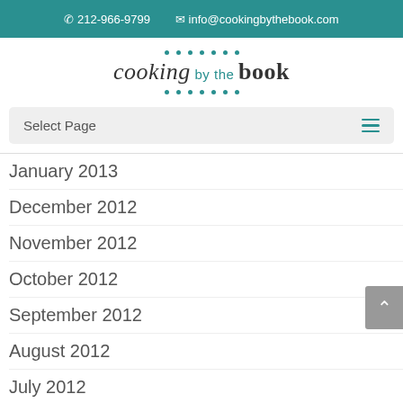212-966-9799  info@cookingbythebook.com
[Figure (logo): Cooking by the Book logo with teal dots above and below the brand name]
Select Page
January 2013
December 2012
November 2012
October 2012
September 2012
August 2012
July 2012
June 2012
May 2012